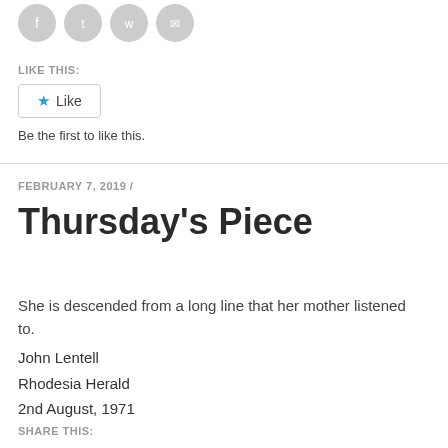[Figure (illustration): Four circular social sharing icons (Facebook, Twitter, WhatsApp, Email) in gray]
LIKE THIS:
Like
Be the first to like this.
FEBRUARY 7, 2019 /
Thursday's Piece
She is descended from a long line that her mother listened to.
John Lentell
Rhodesia Herald
2nd August, 1971
SHARE THIS: